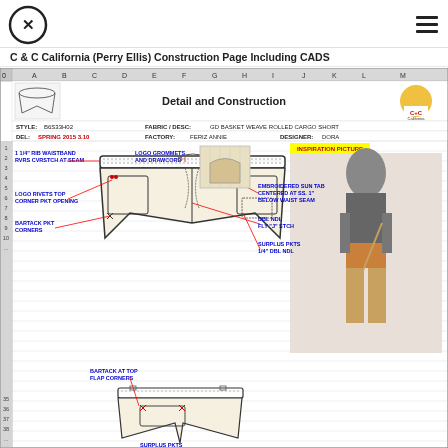[Figure (logo): C&C California circular logo with X mark]
[Figure (illustration): Hamburger menu icon (three horizontal lines)]
C & C California (Perry Ellis) Construction Page Including CADS
[Figure (screenshot): Spreadsheet showing Detail and Construction page for C&C California cargo shorts. Contains garment technical sketches with annotations including: 1 1/4" RIB WAISTBAND RVRS CVRSTCH AT SEAM, LOGO GROMMETS AND DRAWCORD, LOGO RIVETS TOP CORNER PKT OPENING, BARTACK PKT CORNERS, EMBROIDERED SUN TAB CENTERED AT SS. 1" BELOW WAIST SEAM, DBL NDL FLY "J" STCH, SURPLUS PKTS 1/4" DBL NDL, BARTACK AT TOP FLAP CORNERS. Style: B6S33H02, Fabric/Desc: GD BASKET WEAVE ROLLED CARGO SHORT, Del: SPRING 2015 3.10, Factory: FEROZ ANNIE, Designer: DORA. Inspiration picture shows a woman wearing cargo shorts with a gray tank top.]